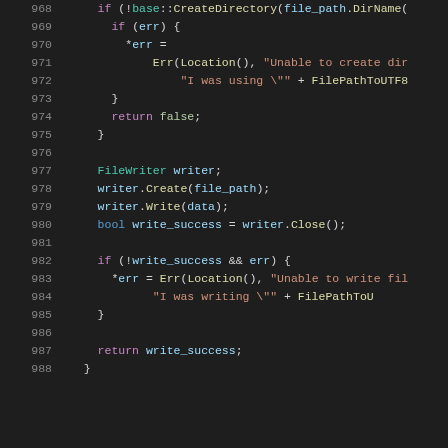[Figure (screenshot): Source code viewer showing lines 968-988 of a C++ file with syntax highlighting. Dark background (#1e1e1e). Line numbers in gray, keywords in purple, identifiers in blue/teal, strings in orange, function names in yellow, boolean literals in green.]